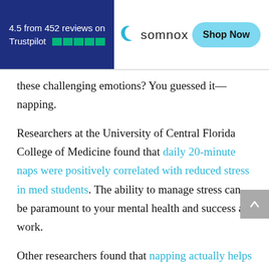4.5 from 452 reviews on Trustpilot | somnox | Shop Now
these challenging emotions? You guessed it—napping.
Researchers at the University of Central Florida College of Medicine found that daily 20-minute naps were positively correlated with reduced stress in med students. The ability to manage stress can be paramount to your mental health and success at work.
Other researchers found that napping actually helps you evaluate other people's emotional states by promoting better recognition of emotional facial expressions.